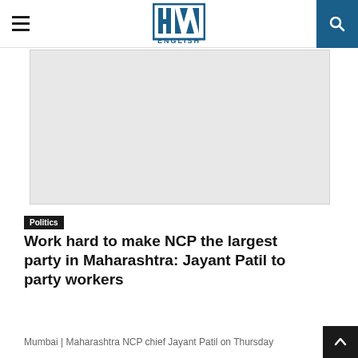HW ENGLISH
[Figure (photo): Large image placeholder (light gray rectangle) representing an article photo]
Politics
Work hard to make NCP the largest party in Maharashtra: Jayant Patil to party workers
Mumbai | Maharashtra NCP chief Jayant Patil on Thursday